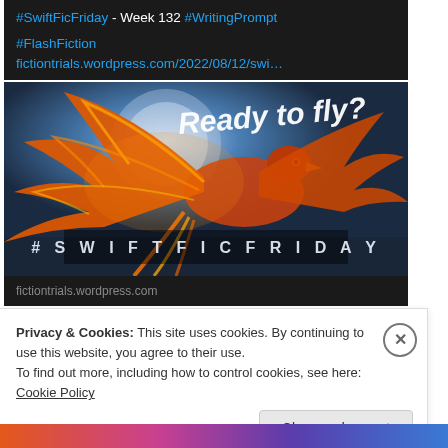#SwiftFicFriday - Week 132 #WritingPrompt
#FlashFiction fictiontrials.wordpress.com/2022/08/12/swi…
[Figure (illustration): A phoenix bird with orange and red wings spread wide against a blue sky/moon background. White script text reads 'Ready to fly?' and below in spaced caps '#SWIFTFICFRIDAY']
fictiontrials.wordpress.com
Privacy & Cookies: This site uses cookies. By continuing to use this website, you agree to their use. To find out more, including how to control cookies, see here: Cookie Policy
Close and accept